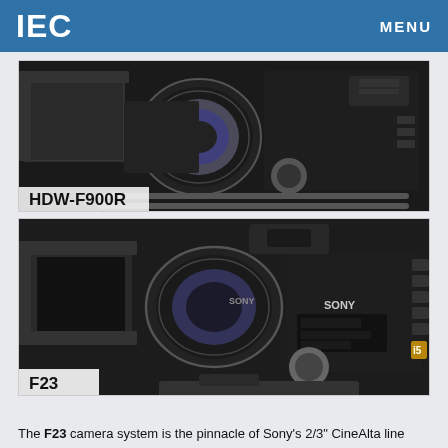IEC   MENU
[Figure (photo): Sony HDW-F900R professional cinema camera with matte box and follow focus, shown in 3/4 front view on a camera rig. Label: HDW-F900R]
[Figure (photo): Sony F23 professional cinema camera with matte box and follow focus, shown in 3/4 front view on a tripod head. Label: F23]
The F23 camera system is the pinnacle of Sony's 2/3" CineAlta line